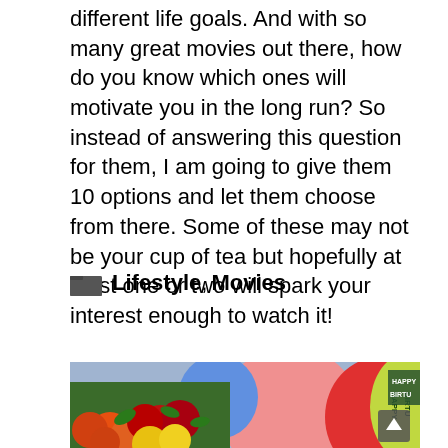different life goals. And with so many great movies out there, how do you know which ones will motivate you in the long run? So instead of answering this question for them, I am going to give them 10 options and let them choose from there. Some of these may not be your cup of tea but hopefully at least one or two will spark your interest enough to watch it!
Lifestyle, Movies
[Figure (photo): Photo of colorful roses and balloons with a 'Happy Birthday' balloon on the right side]